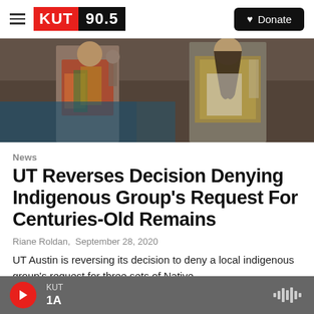KUT 90.5 | Donate
[Figure (photo): Two people in traditional indigenous attire, one holding an object, photographed outdoors.]
News
UT Reverses Decision Denying Indigenous Group's Request For Centuries-Old Remains
Riane Roldan, September 28, 2020
UT Austin is reversing its decision to deny a local indigenous group's request for three sets of Native
KUT | 1A